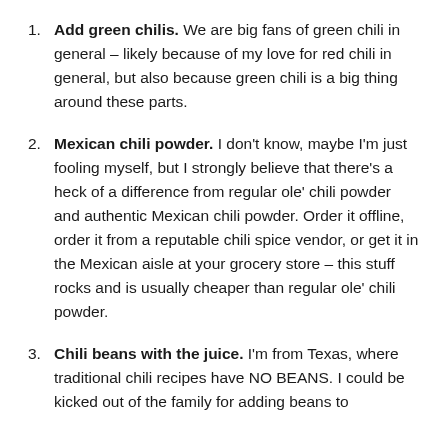Add green chilis. We are big fans of green chili in general – likely because of my love for red chili in general, but also because green chili is a big thing around these parts.
Mexican chili powder. I don't know, maybe I'm just fooling myself, but I strongly believe that there's a heck of a difference from regular ole' chili powder and authentic Mexican chili powder. Order it offline, order it from a reputable chili spice vendor, or get it in the Mexican aisle at your grocery store – this stuff rocks and is usually cheaper than regular ole' chili powder.
Chili beans with the juice. I'm from Texas, where traditional chili recipes have NO BEANS. I could be kicked out of the family for adding beans to